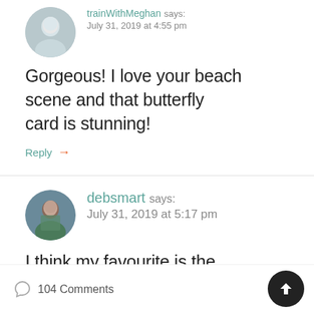trainWithMeghan says:
July 31, 2019 at 4:55 pm
Gorgeous! I love your beach scene and that butterfly card is stunning!
Reply →
debsmart says:
July 31, 2019 at 5:17 pm
I think my favourite is the beach theme! Of course that could just be wishful
104 Comments